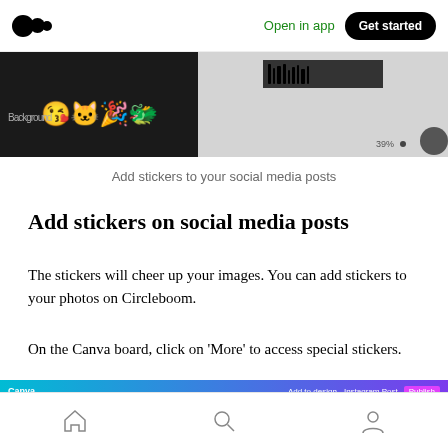Medium logo | Open in app | Get started
[Figure (screenshot): Screenshot of a social media post editor showing stickers/emojis panel on the left and a dark image on the right with a playback progress bar]
Add stickers to your social media posts
Add stickers on social media posts
The stickers will cheer up your images. You can add stickers to your photos on Circleboom.
On the Canva board, click on ‘More’ to access special stickers.
[Figure (screenshot): Screenshot of Canva editor interface showing toolbar with gradient background and editing canvas below]
Home | Search | Profile navigation icons